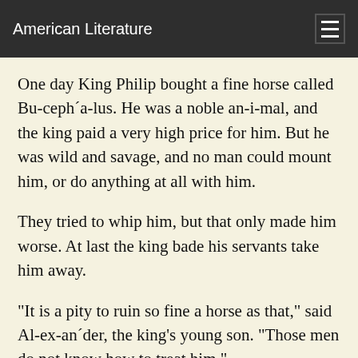American Literature
One day King Philip bought a fine horse called Bu-ceph´a-lus. He was a noble an-i-mal, and the king paid a very high price for him. But he was wild and savage, and no man could mount him, or do anything at all with him.
They tried to whip him, but that only made him worse. At last the king bade his servants take him away.
"It is a pity to ruin so fine a horse as that," said Al-ex-an´der, the king's young son. "Those men do not know how to treat him."